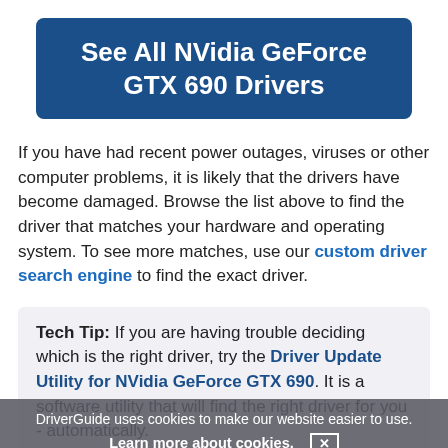See All NVidia GeForce GTX 690 Drivers
If you have had recent power outages, viruses or other computer problems, it is likely that the drivers have become damaged. Browse the list above to find the driver that matches your hardware and operating system. To see more matches, use our custom driver search engine to find the exact driver.
Tech Tip: If you are having trouble deciding which is the right driver, try the Driver Update Utility for NVidia GeForce GTX 690. It is a software utility that will find the right driver for you - automatically.
DriverGuide uses cookies to make our website easier to use. Learn more about cookies. [x]